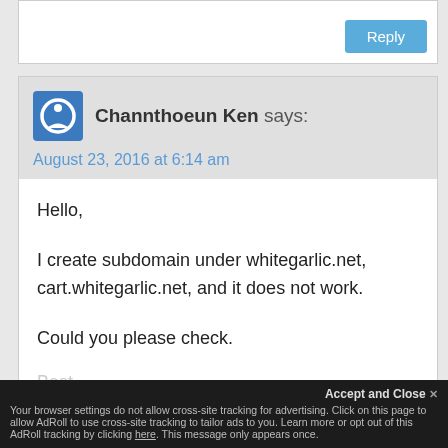[Figure (other): Reply button area - white input box with a blue Reply button in bottom right]
Channthoeun Ken says:
August 23, 2016 at 6:14 am
Hello,

I create subdomain under whitegarlic.net, cart.whitegarlic.net, and it does not work.

Could you please check.
Best,
Accept and Close
Your browser settings do not allow cross-site tracking for advertising. Click on this page to allow AdRoll to use cross-site tracking to tailor ads to you. Learn more or opt out of this AdRoll tracking by clicking here. This message only appears once.